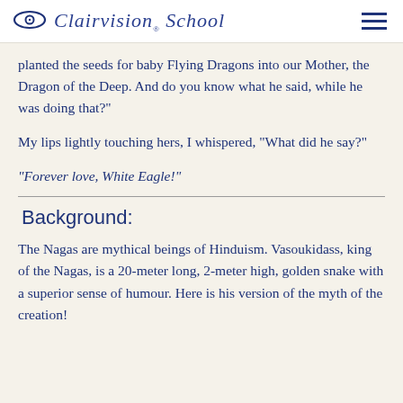Clairvision School
planted the seeds for baby Flying Dragons into our Mother, the Dragon of the Deep. And do you know what he said, while he was doing that?"
My lips lightly touching hers, I whispered, "What did he say?"
"Forever love, White Eagle!"
Background:
The Nagas are mythical beings of Hinduism. Vasoukidass, king of the Nagas, is a 20-meter long, 2-meter high, golden snake with a superior sense of humour. Here is his version of the myth of the creation!